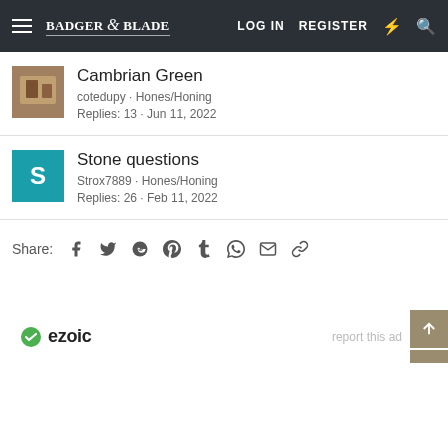Badger & Blade | LOG IN | REGISTER
Cambrian Green
cotedupy · Hones/Honing
Replies: 13 · Jun 11, 2022
Stone questions
Strox7889 · Hones/Honing
Replies: 26 · Feb 11, 2022
Share:
[Figure (screenshot): Social share icons: Facebook, Twitter, Reddit, Pinterest, Tumblr, WhatsApp, Email, Link]
[Figure (logo): Ezoic logo with green checkmark circle]
report this ad